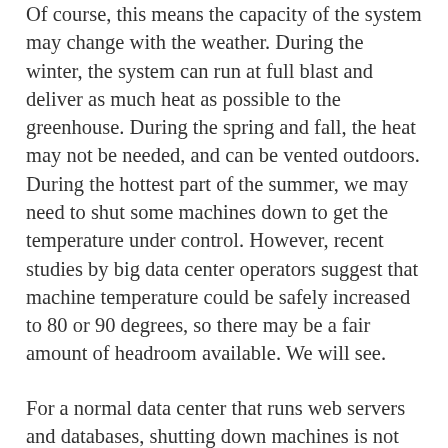Of course, this means the capacity of the system may change with the weather. During the winter, the system can run at full blast and deliver as much heat as possible to the greenhouse. During the spring and fall, the heat may not be needed, and can be vented outdoors. During the hottest part of the summer, we may need to shut some machines down to get the temperature under control. However, recent studies by big data center operators suggest that machine temperature could be safely increased to 80 or 90 degrees, so there may be a fair amount of headroom available. We will see.
For a normal data center that runs web servers and databases, shutting down machines is not really an option. However, the Green Cloud provides fungible computing power for large computations in science and engineering at Notre Dame. If structured correctly, these workloads can adapt to 10 or 100 or 1000 cores. So, turning machines on and off will affect performance, but not correctness.
A good example of a flexible workload is genome assembly. Two of our students, Christopher Moretti and Michael Olson